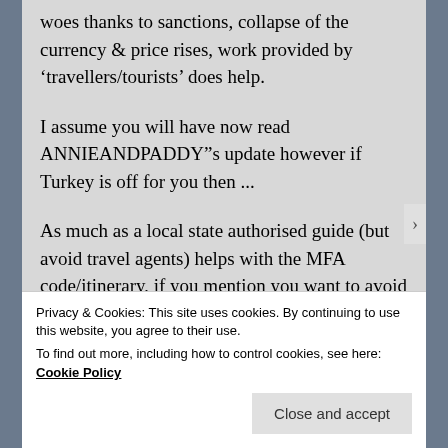woes thanks to sanctions, collapse of the currency & price rises, work provided by ‘travellers/tourists’ does help.
I assume you will have now read ANNIEANDPADDY’s update however if Turkey is off for you then ...
As much as a local state authorised guide (but avoid travel agents) helps with the MFA code/itinerary, if you mention you want to avoid formal hotels, there are also whats called ‘ecolodge’s’ which are family run & so
Privacy & Cookies: This site uses cookies. By continuing to use this website, you agree to their use.
To find out more, including how to control cookies, see here: Cookie Policy
Close and accept